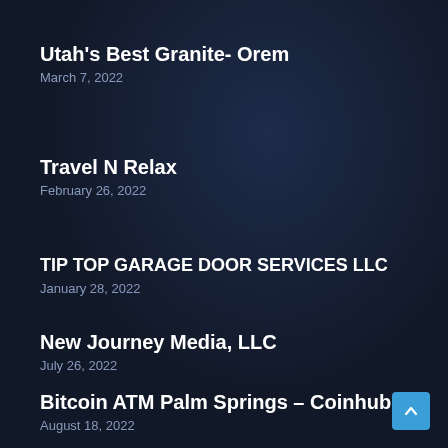Utah’s Best Granite- Orem
March 7, 2022
Travel N Relax
February 26, 2022
TIP TOP GARAGE DOOR SERVICES LLC
January 28, 2022
New Journey Media, LLC
July 26, 2022
Bitcoin ATM Palm Springs – Coinhub
August 18, 2022